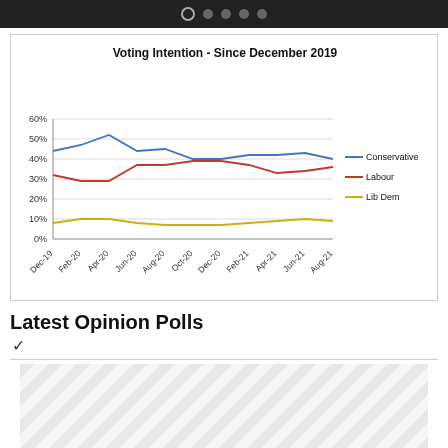[Figure (line-chart): Voting Intention - Since December 2019]
Latest Opinion Polls
[Figure (other): Blurred/loading table area with hexagonal tile pattern]